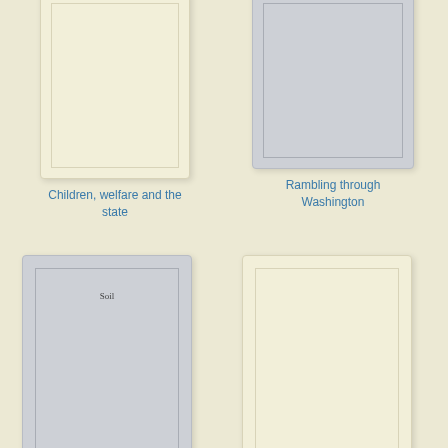[Figure (illustration): Book cover for 'Children, welfare and the state' - cream colored cover, partially cropped at top]
Children, welfare and the state
[Figure (illustration): Book cover for 'Rambling through Washington' - gray colored cover, partially cropped at top]
Rambling through Washington
[Figure (illustration): Book cover for 'Soil' - gray colored cover with inner border and 'Soil' text]
Soil
[Figure (illustration): Book cover for 'Around Bridport' - cream colored cover]
Around Bridport